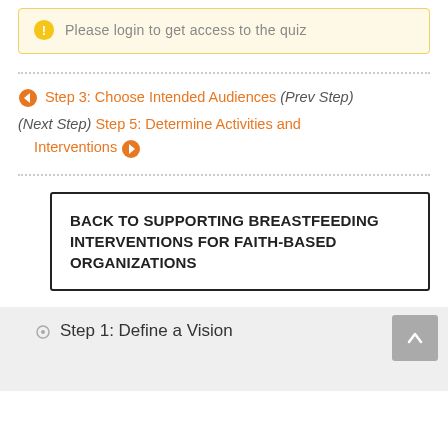Please login to get access to the quiz
Step 3: Choose Intended Audiences (Prev Step)
(Next Step) Step 5: Determine Activities and Interventions
BACK TO SUPPORTING BREASTFEEDING INTERVENTIONS FOR FAITH-BASED ORGANIZATIONS
Step 1: Define a Vision